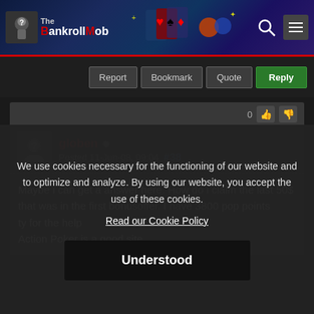The BankrollMob
Report | Bookmark | Quote | Reply
globen • Posted 11-Jun-08, 09:04  #38
Maybe i can get a answer here. How do i claim the last 50$ that was in the first bonusoffer. I have 3800 pop points
ty for the help
Action Poker is a good site
We use cookies necessary for the functioning of our website and to optimize and analyze. By using our website, you accept the use of these cookies.
Read our Cookie Policy
Understood